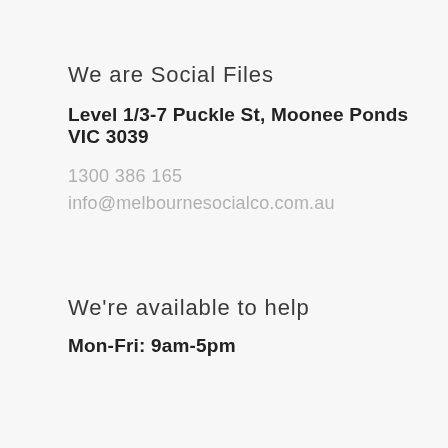We are Social Files
Level 1/3-7 Puckle St, Moonee Ponds VIC 3039
1300 386 165
info@melbournesocialco.com.au
We're available to help
Mon-Fri: 9am-5pm